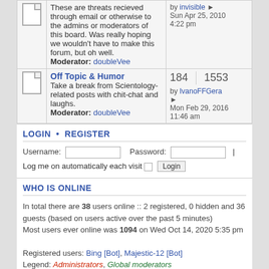| [icon] | These are threats recieved through email or otherwise to the admins or moderators of this board. Was really hoping we wouldn't have to make this forum, but oh well.
Moderator: doubleVee | by invisible
Sun Apr 25, 2010
4:22 pm |
| [icon] | Off Topic & Humor
Take a break from Scientology-related posts with chit-chat and laughs.
Moderator: doubleVee | 184 | 1553
by IvanoFFGera
Mon Feb 29, 2016
11:46 am |
LOGIN • REGISTER
Username:  Password:  |
Log me on automatically each visit  Login
WHO IS ONLINE
In total there are 38 users online :: 2 registered, 0 hidden and 36 guests (based on users active over the past 5 minutes)
Most users ever online was 1094 on Wed Oct 14, 2020 5:35 pm
Registered users: Bing [Bot], Majestic-12 [Bot]
Legend: Administrators, Global moderators
STATISTICS
Total posts 23486 • Total topics 5043 • Total members 1385 • Our newest member invisible01